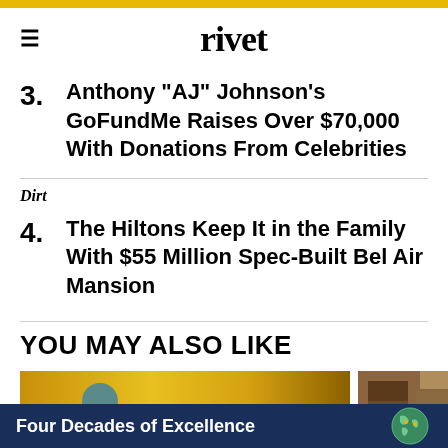rivet
3. Anthony "AJ" Johnson's GoFundMe Raises Over $70,000 With Donations From Celebrities
Dirt
4. The Hiltons Keep It in the Family With $55 Million Spec-Built Bel Air Mansion
YOU MAY ALSO LIKE
[Figure (photo): Person in teal suit in front of golden neon sign spelling 'Tiffany']
[Figure (photo): Interior room with wooden shelving/bookcase]
Four Decades of Excellence